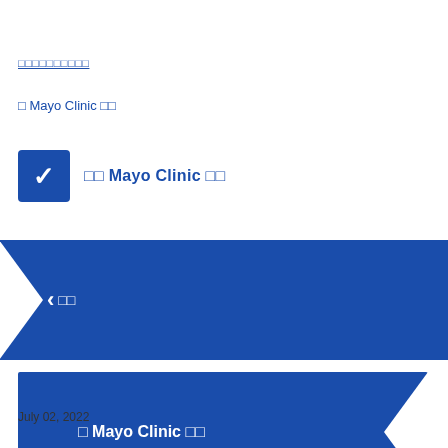□□□□□□□□□□
□ Mayo Clinic □□
□□ Mayo Clinic □□
□□
□ Mayo Clinic □□
July 02, 2022